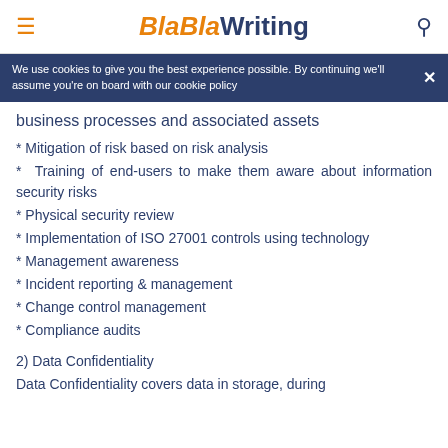BlaBlaWriting
We use cookies to give you the best experience possible. By continuing we'll assume you're on board with our cookie policy
business processes and associated assets
* Mitigation of risk based on risk analysis
* Training of end-users to make them aware about information security risks
* Physical security review
* Implementation of ISO 27001 controls using technology
* Management awareness
* Incident reporting & management
* Change control management
* Compliance audits
2) Data Confidentiality
Data Confidentiality covers data in storage, during